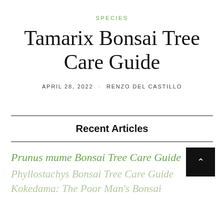SPECIES
Tamarix Bonsai Tree Care Guide
APRIL 28, 2022 · RENZO DEL CASTILLO
Recent Articles
Prunus mume Bonsai Tree Care Guide
Phyllostachys Bonsai Tree Care Guide
Kokedama: The Poor Man's Bonsai